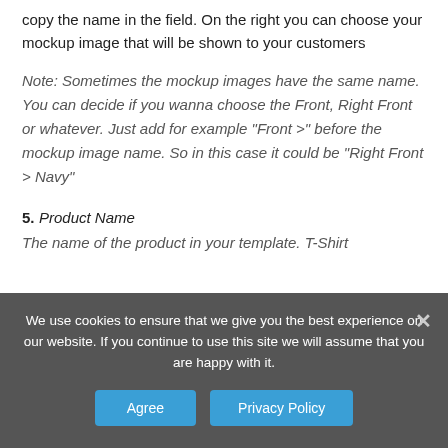Select the mockup style on the left side and copy the name in the field. On the right you can choose your mockup image that will be shown to your customers
Note: Sometimes the mockup images have the same name. You can decide if you wanna choose the Front, Right Front or whatever. Just add for example “Front >” before the mockup image name. So in this case it could be “Right Front > Navy”
5. Product Name
The name of the product in your template. T-Shirt
We use cookies to ensure that we give you the best experience on our website. If you continue to use this site we will assume that you are happy with it.